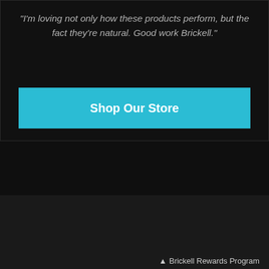"I'm loving not only how these products perform, but the fact they're natural. Good work Brickell."
Shop Our Store
Try Us Free
[Figure (screenshot): Dark input/form box area]
Company
^ Brickell Rewards Program